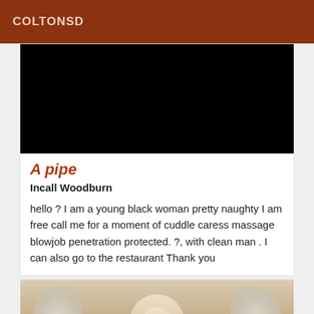COLTONSD
[Figure (photo): Black rectangle representing a photo placeholder]
A pipe
Incall Woodburn
hello ? I am a young black woman pretty naughty I am free call me for a moment of cuddle caress massage blowjob penetration protected. ?, with clean man . I can also go to the restaurant Thank you
[Figure (photo): Photo of a blonde woman with decorative wall art in the background]